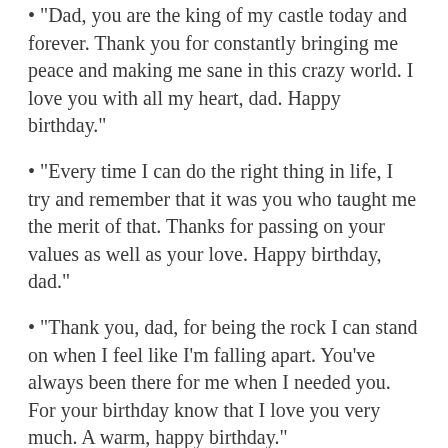“Dad, you are the king of my castle today and forever. Thank you for constantly bringing me peace and making me sane in this crazy world. I love you with all my heart, dad. Happy birthday.”
“Every time I can do the right thing in life, I try and remember that it was you who taught me the merit of that. Thanks for passing on your values as well as your love. Happy birthday, dad.”
“Thank you, dad, for being the rock I can stand on when I feel like I’m falling apart. You’ve always been there for me when I needed you. For your birthday know that I love you very much. A warm, happy birthday.”
“Happy birthday, father & guide. Thank you for being the lighthouse that keeps me safe during the storms of life.”
“Dad, happy birthday! You’ve always been an amazing